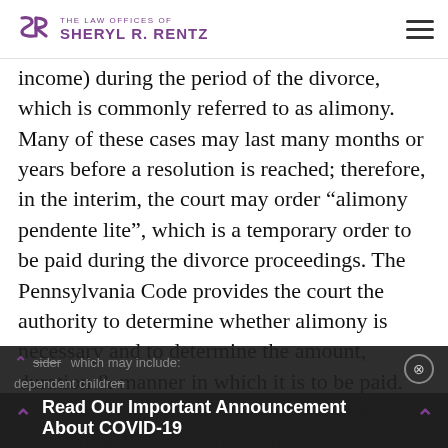THE LAW OFFICES OF SHERYL R. RENTZ
income) during the period of the divorce, which is commonly referred to as alimony. Many of these cases may last many months or years before a resolution is reached; therefore, in the interim, the court may order “alimony pendente lite”, which is a temporary order to be paid during the divorce proceedings. The Pennsylvania Code provides the court the authority to determine whether alimony is necessary and to determine the amount, duration & manner in which it is to be paid. The courts come to a conclusion on alimony orders based on a lengthy number of considerations, which may include: dependent children
Read Our Important Announcement About COVID-19